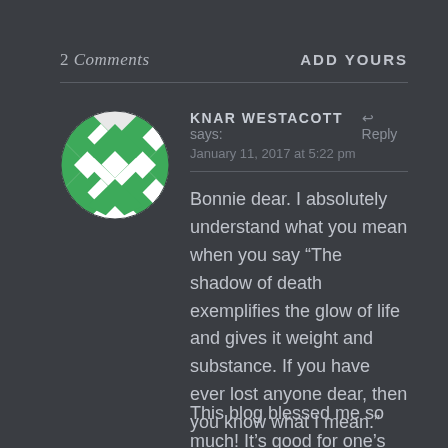2 Comments
ADD YOURS
KNAR WESTACOTT says:  ↩ Reply
January 11, 2017 at 5:22 pm
Bonnie dear. I absolutely understand what you mean when you say “The shadow of death exemplifies the glow of life and gives it weight and substance. If you have ever lost anyone dear, then you know what I mean.”
This blog blessed me so much! It’s good for one’s experience to be validated by